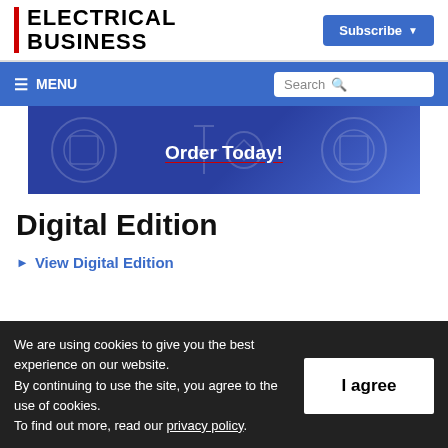ELECTRICAL BUSINESS
Subscribe
≡ MENU | Search
[Figure (illustration): Blue promotional banner with 'Order Today!' text and decorative electrical/smart home icons in the background]
Digital Edition
View Digital Edition
We are using cookies to give you the best experience on our website. By continuing to use the site, you agree to the use of cookies. To find out more, read our privacy policy.